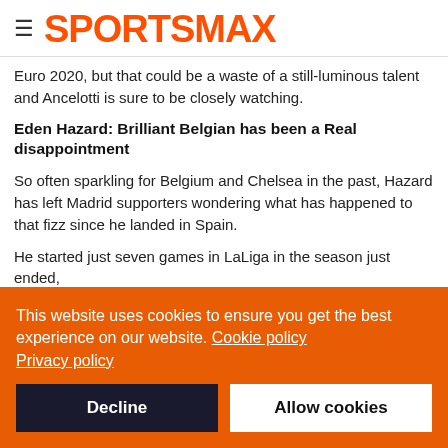SPORTSMAX
Euro 2020, but that could be a waste of a still-luminous talent and Ancelotti is sure to be closely watching.
Eden Hazard: Brilliant Belgian has been a Real disappointment
So often sparkling for Belgium and Chelsea in the past, Hazard has left Madrid supporters wondering what has happened to that fizz since he landed in Spain.
He started just seven games in LaLiga in the season just ended,
This website uses cookies to ensure you get the best experience on our website. Cookie policy Privacy policy
Decline
Allow cookies